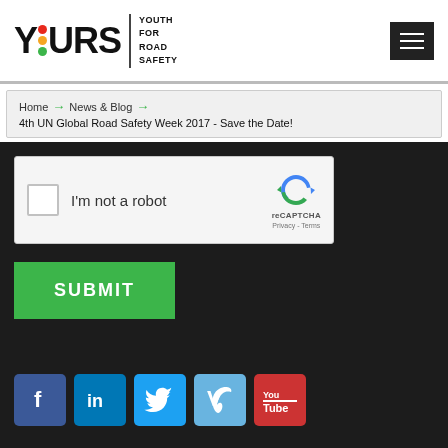YOURS | YOUTH FOR ROAD SAFETY
Home > News & Blog > 4th UN Global Road Safety Week 2017 - Save the Date!
[Figure (screenshot): reCAPTCHA widget with checkbox labeled 'I'm not a robot' and reCAPTCHA logo with Privacy - Terms links]
SUBMIT
[Figure (infographic): Social media icons: Facebook, LinkedIn, Twitter, Vimeo, YouTube]